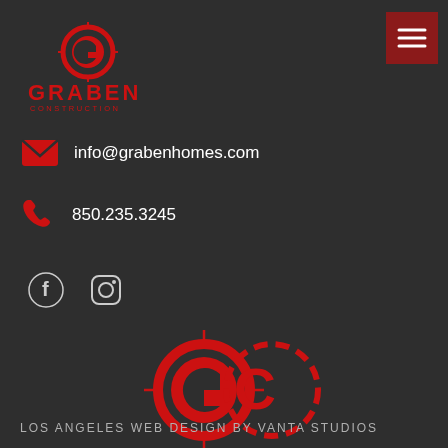[Figure (logo): Graben Construction small logo top left - red circular G icon with GRABEN CONSTRUCTION text]
[Figure (other): Dark red hamburger menu button top right]
info@grabenhomes.com
850.235.3245
[Figure (other): Facebook and Instagram social media icons in white/light color]
[Figure (logo): Large Graben Construction logo with red GC crosshair icon and GRABEN CONSTRUCTION text in red]
LOS ANGELES WEB DESIGN BY VANTA STUDIOS